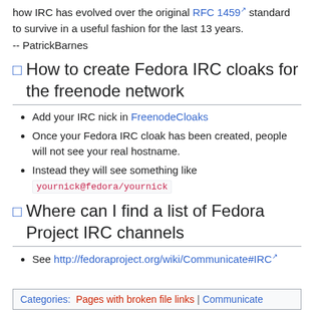how IRC has evolved over the original RFC 1459 standard to survive in a useful fashion for the last 13 years.
-- PatrickBarnes
How to create Fedora IRC cloaks for the freenode network
Add your IRC nick in FreenodeCloaks
Once your Fedora IRC cloak has been created, people will not see your real hostname.
Instead they will see something like yournick@fedora/yournick
Where can I find a list of Fedora Project IRC channels
See http://fedoraproject.org/wiki/Communicate#IRC
Categories: Pages with broken file links | Communicate